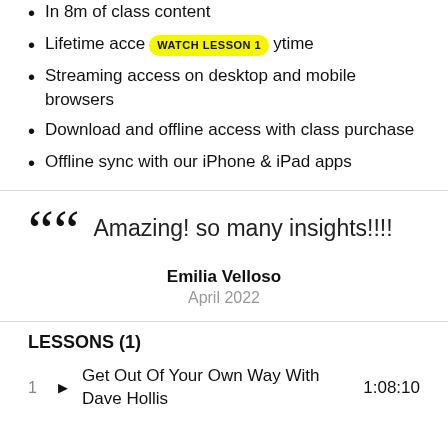In 8m of class content
Lifetime access anytime
Streaming access on desktop and mobile browsers
Download and offline access with class purchase
Offline sync with our iPhone & iPad apps
Amazing! so many insights!!!!
Emilia Velloso
April 2022
LESSONS (1)
1 Get Out Of Your Own Way With Dave Hollis 1:08:10